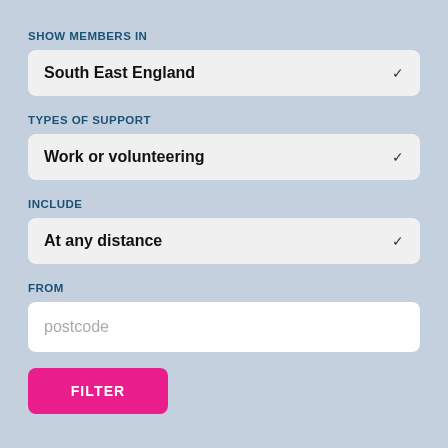SHOW MEMBERS IN
South East England
TYPES OF SUPPORT
Work or volunteering
INCLUDE
At any distance
FROM
postcode
FILTER